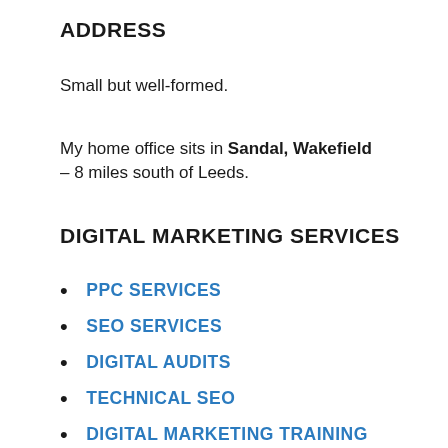ADDRESS
Small but well-formed.
My home office sits in Sandal, Wakefield – 8 miles south of Leeds.
DIGITAL MARKETING SERVICES
PPC SERVICES
SEO SERVICES
DIGITAL AUDITS
TECHNICAL SEO
DIGITAL MARKETING TRAINING